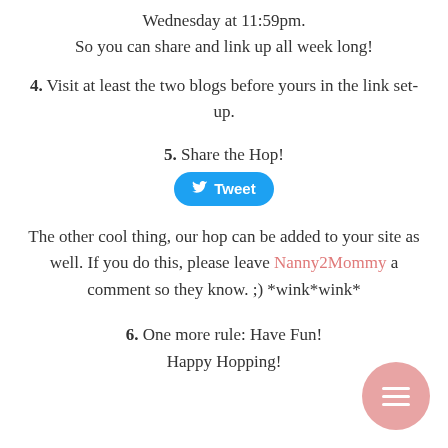Wednesday at 11:59pm.
So you can share and link up all week long!
4. Visit at least the two blogs before yours in the link set-up.
5. Share the Hop!
[Figure (other): Blue Twitter Tweet button with bird icon]
The other cool thing, our hop can be added to your site as well. If you do this, please leave Nanny2Mommy a comment so they know. ;) *wink*wink*
6. One more rule: Have Fun!
Happy Hopping!
[Figure (other): Pink circular menu button with three horizontal lines]